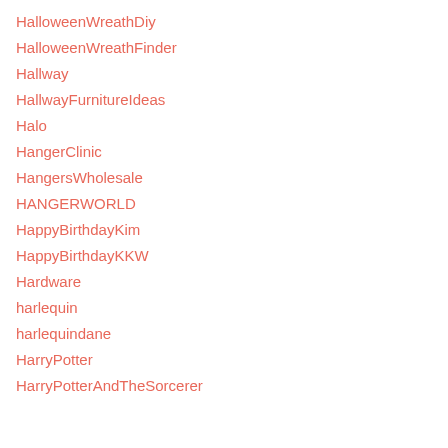HalloweenWreathDiy
HalloweenWreathFinder
Hallway
HallwayFurnitureIdeas
Halo
HangerClinic
HangersWholesale
HANGERWORLD
HappyBirthdayKim
HappyBirthdayKKW
Hardware
harlequin
harlequindane
HarryPotter
HarryPotterAndTheSorcerer